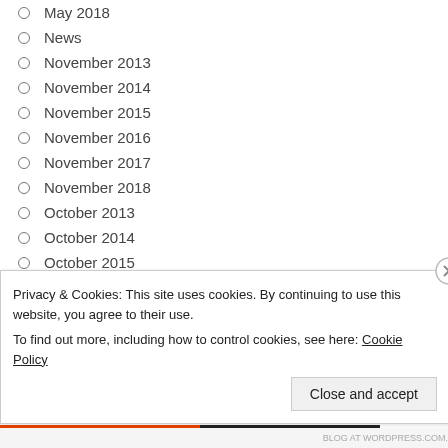May 2018
News
November 2013
November 2014
November 2015
November 2016
November 2017
November 2018
October 2013
October 2014
October 2015
October 2016
October 2017
Privacy & Cookies: This site uses cookies. By continuing to use this website, you agree to their use.
To find out more, including how to control cookies, see here: Cookie Policy
Close and accept